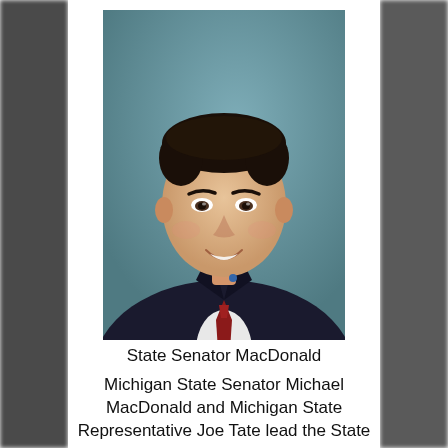[Figure (photo): Official portrait photo of Michigan State Senator Michael MacDonald, a man in a dark suit with a red tie, smiling, against a teal/blue-grey studio background.]
State Senator MacDonald
Michigan State Senator Michael MacDonald and Michigan State Representative Joe Tate lead the State